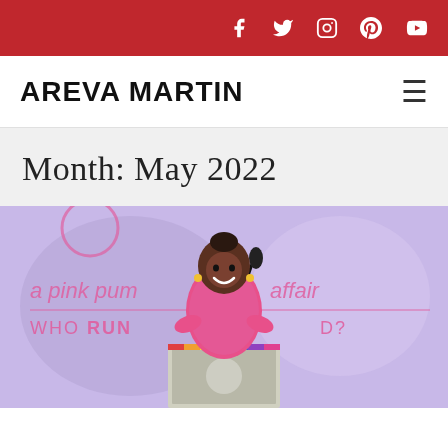Social icons: Facebook, Twitter, Instagram, Pinterest, YouTube
AREVA MARTIN
Month: May 2022
[Figure (photo): Woman in pink outfit speaking at a podium at an event with 'a pink pump affair - WHO RUN THE WORLD?' backdrop]